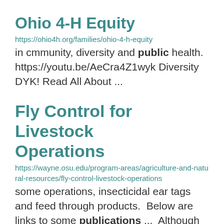Ohio 4-H Equity
https://ohio4h.org/families/ohio-4-h-equity
in cmmunity, diversity and public health.
https://youtu.be/AeCra4Z1wyk Diversity DYK! Read All About ...
Fly Control for Livestock Operations
https://wayne.osu.edu/program-areas/agriculture-and-natural-resources/fly-control-livestock-operations
some operations, insecticidal ear tags and feed through products.  Below are links to some publications ...  Although some of the publications contain dairy in the title